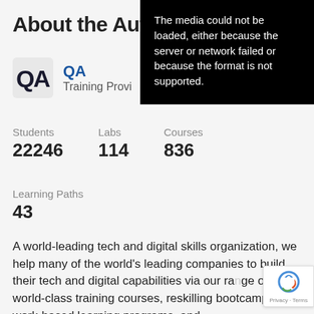About the Aut
[Figure (logo): QA logo — stylized Q A letters in dark navy]
QA
Training Provi
Students 22246
Labs 114
Courses 836
Learning Paths
43
A world-leading tech and digital skills organization, we help many of the world's leading companies to build their tech and digital capabilities via our range of world-class training courses, reskilling bootcamps, work-based learning programs, and
[Figure (screenshot): Black media error overlay reading: The media could not be loaded, either because the server or network failed or because the format is not supported.]
[Figure (logo): Google reCAPTCHA badge with Privacy and Terms links]